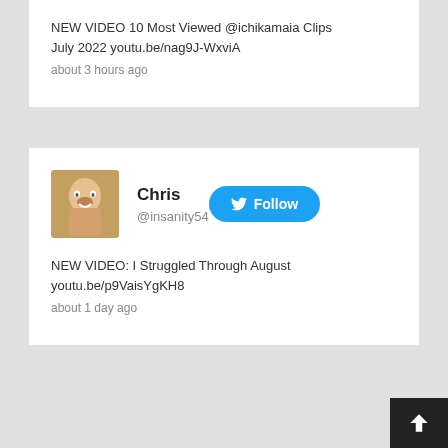NEW VIDEO 10 Most Viewed @ichikamaia Clips July 2022 youtu.be/nag9J-WxviA
about 3 hours ago
[Figure (photo): Profile photo of Chris (@insanity54), showing a man making a funny expression]
Chris
@insanity54
Follow
NEW VIDEO: I Struggled Through August youtu.be/p9VaisYgKH8
about 1 day ago